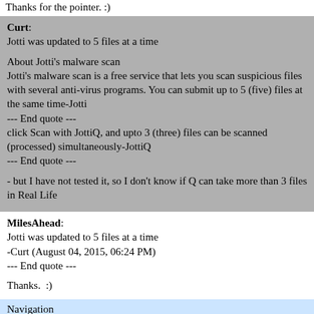Thanks for the pointer. :)
Curt:
Jotti was updated to 5 files at a time

About Jotti's malware scan
Jotti's malware scan is a free service that lets you scan suspicious files with several anti-virus programs. You can submit up to 5 (five) files at the same time-Jotti
--- End quote ---
click Scan with JottiQ, and upto 3 (three) files can be scanned (processed) simultaneously-JottiQ
--- End quote ---

- but I have not tested it, so I don't know if Q can take more than 3 files in Real Life
MilesAhead:
Jotti was updated to 5 files at a time
-Curt (August 04, 2015, 06:24 PM)
--- End quote ---

Thanks.  :)
Navigation